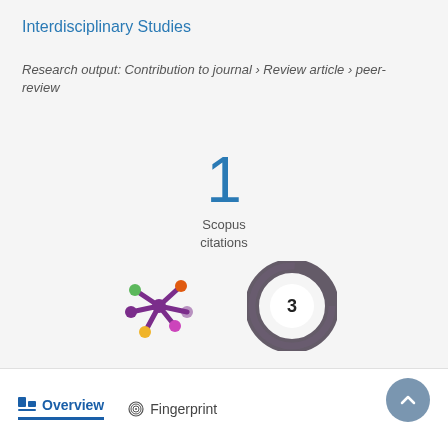Interdisciplinary Studies
Research output: Contribution to journal › Review article › peer-review
[Figure (infographic): Scopus citations badge showing the number 1]
[Figure (infographic): Altmetric donut badge showing number 3 with colorful asterisk-like logo on the left]
Overview
Fingerprint